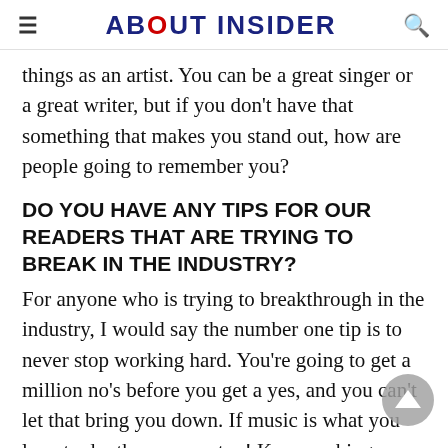ABOUT INSIDER
things as an artist. You can be a great singer or a great writer, but if you don't have that something that makes you stand out, how are people going to remember you?
DO YOU HAVE ANY TIPS FOR OUR READERS THAT ARE TRYING TO BREAK IN THE INDUSTRY?
For anyone who is trying to breakthrough in the industry, I would say the number one tip is to never stop working hard. You're going to get a million no's before you get a yes, and you can't let that bring you down. If music is what you love to do, then never stop! Keep pushing...